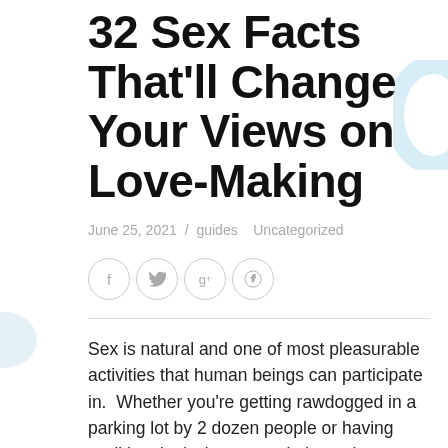32 Sex Facts That'll Change Your Views on Love-Making
June 25, 2021 / guides   Uncategorized
[Figure (other): Social sharing icons: Facebook, Twitter, Google+, Pinterest — circular outlined icons in light gray]
Sex is natural and one of most pleasurable activities that human beings can participate in.  Whether you're getting rawdogged in a parking lot by 2 dozen people or having traditional missionary penis-in-vagina sex, it's